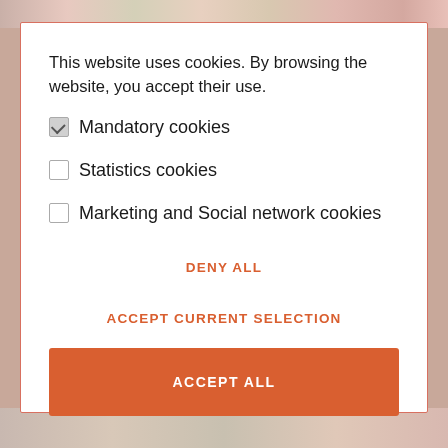[Figure (screenshot): Colorful background with decorative imagery visible at top and bottom strips]
This website uses cookies. By browsing the website, you accept their use.
☑ Mandatory cookies
☐ Statistics cookies
☐ Marketing and Social network cookies
DENY ALL
ACCEPT CURRENT SELECTION
ACCEPT ALL